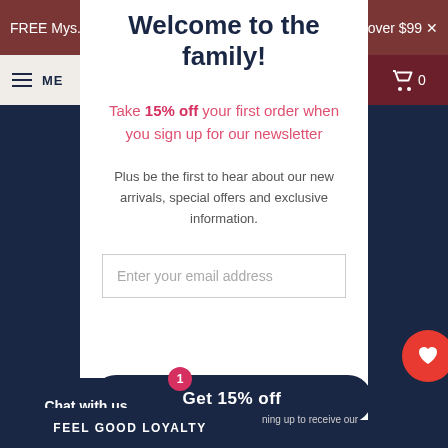FREE My... over $99
Welcome to the family!
Take 15% off your first order when you sign up for our newsletter
Plus be the first to hear about our new arrivals, special offers and exclusive information.
Enter your email address
Get 15% off
Chat with us
FEEL GOOD LOYALTY
ning up to receive our